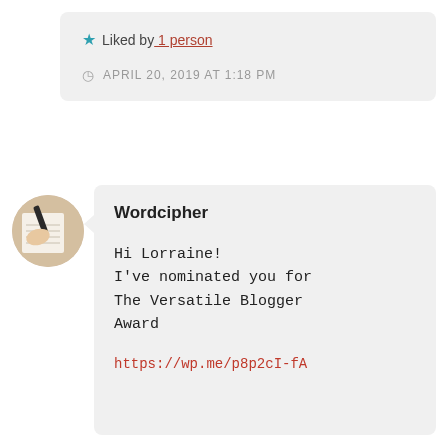★ Liked by 1 person
APRIL 20, 2019 AT 1:18 PM
[Figure (photo): Circular avatar photo showing a hand writing with a pen on lined paper]
Wordcipher
Hi Lorraine!
I've nominated you for The Versatile Blogger Award
https://wp.me/p8p2cI-fA